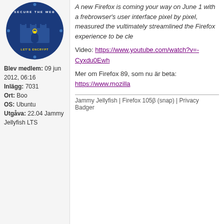[Figure (illustration): Circular badge with 'Secure the Web' and "Let's Encrypt" text, dark blue background with castle/lock imagery]
A new Firefox is coming your way on June 1 with a fre... browser's user interface pixel by pixel, measured the v... ultimately streamlined the Firefox experience to be cle...
Video: https://www.youtube.com/watch?v=-Cyxdu0Ewh...
Mer om Firefox 89, som nu är beta: https://www.mozilla...
Jammy Jellyfish | Firefox 105β (snap) | Privacy Badger
Blev medlem: 09 jun 2012, 06:16
Inlägg: 7031
Ort: Boo
OS: Ubuntu
Utgåva: 22.04 Jammy Jellyfish LTS
21 maj 2021, 04:38
PROFIL
JoWa
Global Moderator
[Figure (illustration): Circular badge with 'Secure the Web' and "Let's Encrypt" text, dark blue background with castle/lock imagery]
Re: Firefox 88.0.1
Updates to Firefox's Breach Alert Policy
Jammy Jellyfish | Firefox 105β (snap) | Privacy Badger
Blev medlem: 09 jun 2012, 06:16
Inlägg: 7031
Ort: Boo
OS: Ubuntu
OS: Ubunt...